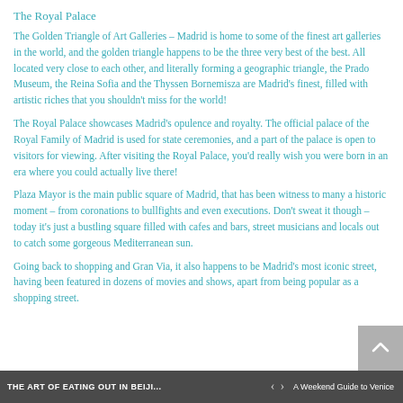The Royal Palace
The Golden Triangle of Art Galleries – Madrid is home to some of the finest art galleries in the world, and the golden triangle happens to be the three very best of the best. All located very close to each other, and literally forming a geographic triangle, the Prado Museum, the Reina Sofia and the Thyssen Bornemisza are Madrid's finest, filled with artistic riches that you shouldn't miss for the world!
The Royal Palace showcases Madrid's opulence and royalty. The official palace of the Royal Family of Madrid is used for state ceremonies, and a part of the palace is open to visitors for viewing. After visiting the Royal Palace, you'd really wish you were born in an era where you could actually live there!
Plaza Mayor is the main public square of Madrid, that has been witness to many a historic moment – from coronations to bullfights and even executions. Don't sweat it though – today it's just a bustling square filled with cafes and bars, street musicians and locals out to catch some gorgeous Mediterranean sun.
Going back to shopping and Gran Via, it also happens to be Madrid's most iconic street, having been featured in dozens of movies and shows, apart from being popular as a shopping street.
THE ART OF EATING OUT IN BEIJI...   ‹   ›   A Weekend Guide to Venice